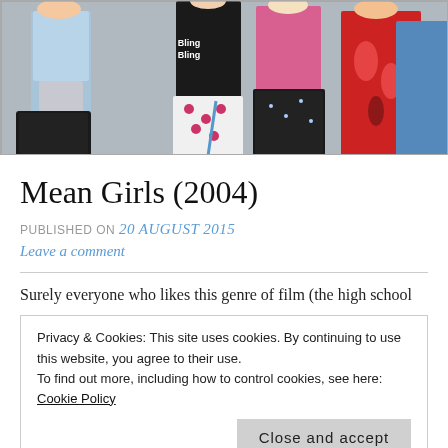[Figure (photo): A group of young women walking in a school hallway, dressed in fashionable outfits from the 2000s, including miniskirts and colorful tops. One wears a black 'Bling Bling' shirt.]
Mean Girls (2004)
PUBLISHED ON 20 August 2015
Leave a comment
Surely everyone who likes this genre of film (the high school
Privacy & Cookies: This site uses cookies. By continuing to use this website, you agree to their use.
To find out more, including how to control cookies, see here: Cookie Policy
Close and accept